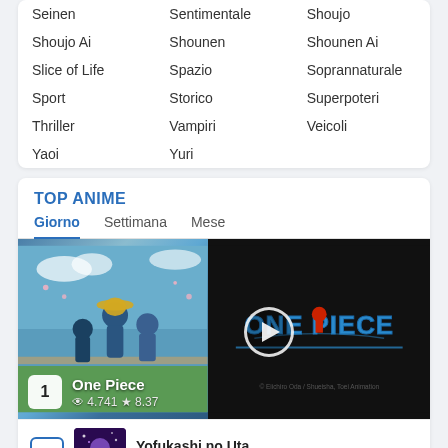| Seinen | Sentimentale | Shoujo |
| Shoujo Ai | Shounen | Shounen Ai |
| Slice of Life | Spazio | Soprannaturale |
| Sport | Storico | Superpoteri |
| Thriller | Vampiri | Veicoli |
| Yaoi | Yuri |  |
TOP ANIME
Giorno  Settimana  Mese
[Figure (screenshot): One Piece anime featured card with manga-style artwork on the left side and the One Piece logo on black background with play button on the right side. Ranked #1 with 4.741 views and 8.37 rating.]
One Piece
👁 4.741 ★ 8.37
Yofukashi no Uta
👁 3.592 ★ 7.96